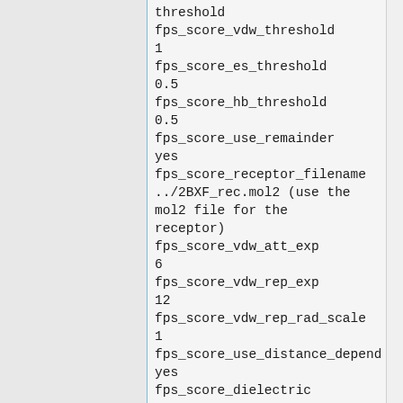threshold
fps_score_vdw_threshold
1
fps_score_es_threshold
0.5
fps_score_hb_threshold
0.5
fps_score_use_remainder
yes
fps_score_receptor_filename
../2BXF_rec.mol2 (use the mol2 file for the receptor)
fps_score_vdw_att_exp
6
fps_score_vdw_rep_exp
12
fps_score_vdw_rep_rad_scale
1
fps_score_use_distance_dependent_dielectric
yes
fps_score_dielectric
4.0
fps_score_vdw_fp_scale
1